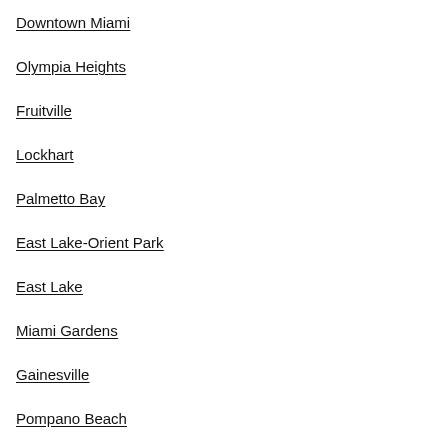Downtown Miami
Olympia Heights
Fruitville
Lockhart
Palmetto Bay
East Lake-Orient Park
East Lake
Miami Gardens
Gainesville
Pompano Beach